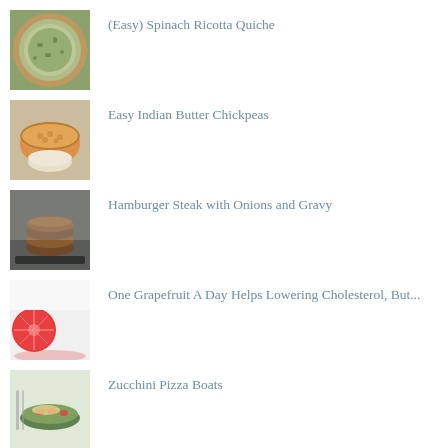[Figure (photo): Spinach Ricotta Quiche in a pastry crust, viewed from above]
(Easy) Spinach Ricotta Quiche
[Figure (photo): Indian Butter Chickpeas in a bowl with rice]
Easy Indian Butter Chickpeas
[Figure (photo): Hamburger Steak patties stacked with onions and gravy]
Hamburger Steak with Onions and Gravy
[Figure (photo): Sliced grapefruit halves showing red interior]
One Grapefruit A Day Helps Lowering Cholesterol, But...
[Figure (photo): Zucchini Pizza Boats]
Zucchini Pizza Boats